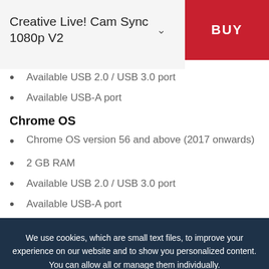Creative Live! Cam Sync 1080p V2
Available USB 2.0 / USB 3.0 port
Available USB-A port
Chrome OS
Chrome OS version 56 and above (2017 onwards)
2 GB RAM
Available USB 2.0 / USB 3.0 port
Available USB-A port
We use cookies, which are small text files, to improve your experience on our website and to show you personalized content. You can allow all or manage them individually.
MORE INFO
ALLOW ALL